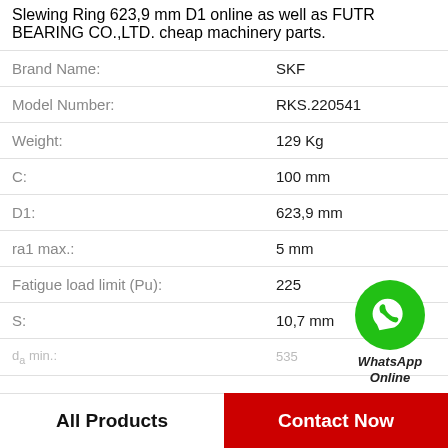Slewing Ring 623,9 mm D1 online as well as FUTR BEARING CO.,LTD. cheap machinery parts.
| Property | Value |
| --- | --- |
| Brand Name: | SKF |
| Model Number: | RKS.220541 |
| Weight: | 129 Kg |
| C: | 100 mm |
| D1: | 623,9 mm |
| ra1 max.: | 5 mm |
| Fatigue load limit (Pu): | 225 |
| S: | 10,7 mm |
| (partial) | 535 |
[Figure (illustration): WhatsApp Online contact icon - green circle with phone handset symbol and text 'WhatsApp Online' below]
All Products    Contact Now